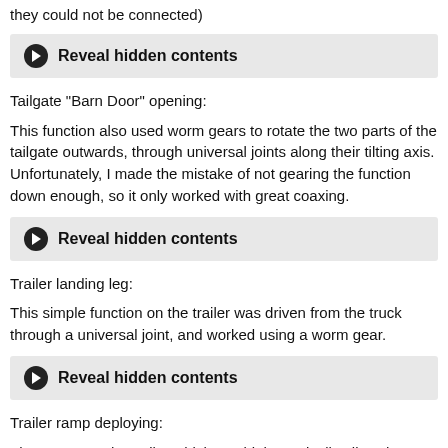they could not be connected)
[Figure (other): Reveal hidden contents button]
Tailgate "Barn Door" opening:
This function also used worm gears to rotate the two parts of the tailgate outwards, through universal joints along their tilting axis. Unfortunately, I made the mistake of not gearing the function down enough, so it only worked with great coaxing.
[Figure (other): Reveal hidden contents button]
Trailer landing leg:
This simple function on the trailer was driven from the truck through a universal joint, and worked using a worm gear.
[Figure (other): Reveal hidden contents button]
Trailer ramp deploying:
The ramps on the trailer which would theoretically allow the